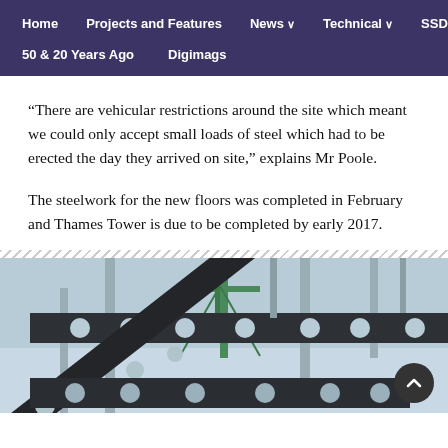Home | Projects and Features | News | Technical | SSDA | 50 & 20 Years Ago | Digimags
“There are vehicular restrictions around the site which meant we could only accept small loads of steel which had to be erected the day they arrived on site,” explains Mr Poole.
The steelwork for the new floors was completed in February and Thames Tower is due to be completed by early 2017.
[Figure (photo): Construction photo showing steel structural beams with circular web openings (cellular steel beams) against a sky background with a crane visible in the background.]